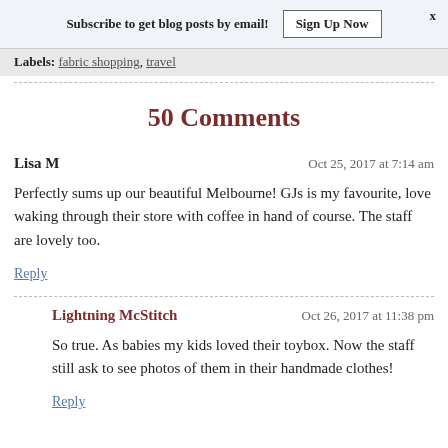Subscribe to get blog posts by email!  Sign Up Now  x
Labels: fabric shopping, travel
50 Comments
Lisa M
Oct 25, 2017 at 7:14 am
Perfectly sums up our beautiful Melbourne! GJs is my favourite, love waking through their store with coffee in hand of course. The staff are lovely too.
Reply
Lightning McStitch
Oct 26, 2017 at 11:38 pm
So true. As babies my kids loved their toybox. Now the staff still ask to see photos of them in their handmade clothes!